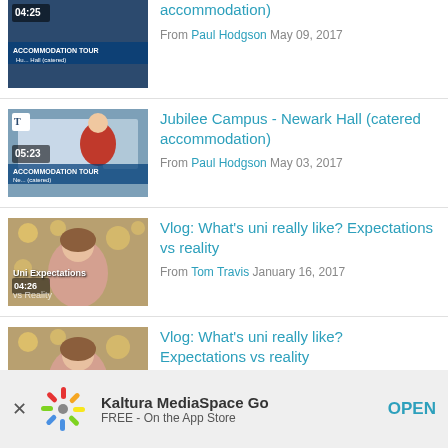[Figure (screenshot): Video thumbnail for accommodation tour, 04:25 duration, Hut... Hall (catered)]
accommodation)
From Paul Hodgson May 09, 2017
[Figure (screenshot): Video thumbnail for Jubilee Campus Newark Hall accommodation tour, 05:23 duration]
Jubilee Campus - Newark Hall (catered accommodation)
From Paul Hodgson May 03, 2017
[Figure (screenshot): Video thumbnail for Uni Expectations vs Reality vlog, 04:26 duration]
Vlog: What’s uni really like? Expectations vs reality
From Tom Travis January 16, 2017
[Figure (screenshot): Video thumbnail for Vlog: What’s uni really like? (partially visible)]
Vlog: What’s uni really like?
Kaltura MediaSpace Go
FREE - On the App Store
OPEN